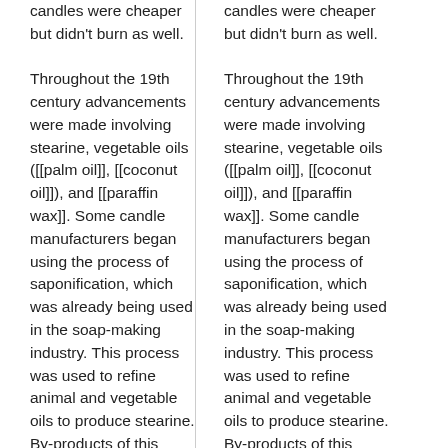candles were cheaper but didn't burn as well. Throughout the 19th century advancements were made involving stearine, vegetable oils ([[palm oil]], [[coconut oil]]), and [[paraffin wax]]. Some candle manufacturers began using the process of saponification, which was already being used in the soap-making industry. This process was used to refine animal and vegetable oils to produce stearine. By-products of this process included [[oleine]] and [[glycerine]], while a byproduct of the distillation process of oil to get [[paraffin
candles were cheaper but didn't burn as well. Throughout the 19th century advancements were made involving stearine, vegetable oils ([[palm oil]], [[coconut oil]]), and [[paraffin wax]]. Some candle manufacturers began using the process of saponification, which was already being used in the soap-making industry. This process was used to refine animal and vegetable oils to produce stearine. By-products of this process included [[oleine]] and [[glycerine]], while a byproduct of the distillation process of oil to get [[paraffin